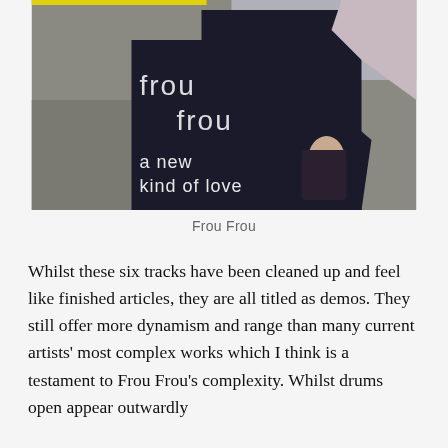[Figure (photo): Album cover for Frou Frou's 'A New Kind of Love' showing a person in a long dark coat walking on a gravel path, with text overlay reading 'frou frou' and 'a new kind of love']
Frou Frou
Whilst these six tracks have been cleaned up and feel like finished articles, they are all titled as demos. They still offer more dynamism and range than many current artists' most complex works which I think is a testament to Frou Frou's complexity. Whilst drums open appear outwardly